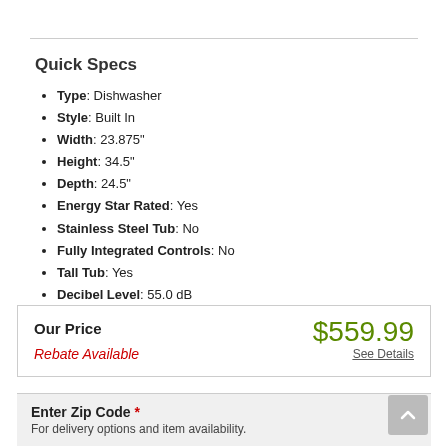Quick Specs
Type: Dishwasher
Style: Built In
Width: 23.875"
Height: 34.5"
Depth: 24.5"
Energy Star Rated: Yes
Stainless Steel Tub: No
Fully Integrated Controls: No
Tall Tub: Yes
Decibel Level: 55.0 dB
WiFi Connected: No
See More
Our Price $559.99 Rebate Available See Details
Enter Zip Code * For delivery options and item availability.